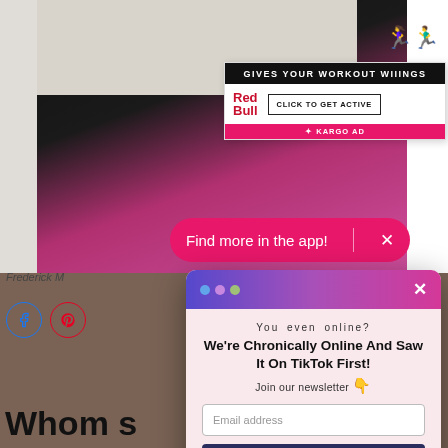[Figure (screenshot): TikTok video screenshot showing person in black pants and pink floral outfit. A pink pill-shaped banner reads 'Find more in the app!' with an X close button.]
[Figure (screenshot): Red Bull advertisement: 'GIVES YOUR WORKOUT WIIINGS', with Red Bull logo and 'CLICK TO GET ACTIVE' button. KARGO AD label at bottom.]
[Figure (screenshot): Newsletter signup modal with gradient purple header, three colored dots, X close button. Text: 'You even online? We're Chronically Online And Saw It On TikTok First! Join our newsletter'. Email address input field. 'Sign Me Up!' button. 'No Thanks' link.]
Frederick M
Whom s